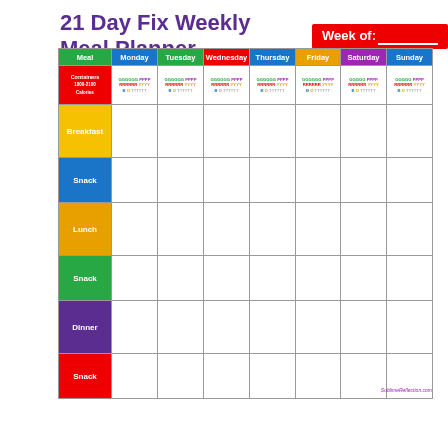21 Day Fix Weekly Meal Planner
Week of: ___
| Meal | Monday | Tuesday | Wednesday | Thursday | Friday | Saturday | Sunday |
| --- | --- | --- | --- | --- | --- | --- | --- |
| Containers 1800-2100 Calories | GGGGGG PPPP RRRRRR YYYY B O TTTTTT | GGGGGG PPPP RRRRRR YYYY B O TTTTTT | GGGGGG PPPP RRRRRR YYYY B O TTTTTT | GGGGGG PPPP RRRRRR YYYY B O TTTTTT | GGGGGG PPPP RRRRRR YYYY B O TTTTTT | GGGGG PPPP RRRRRR YYYY B O TTTTTT | GGGGG PPPP RRRRRR YYYY B O TTTTTT |
| Breakfast |  |  |  |  |  |  |  |
| Snack |  |  |  |  |  |  |  |
| Lunch |  |  |  |  |  |  |  |
| Snack |  |  |  |  |  |  |  |
| Dinner |  |  |  |  |  |  |  |
| Snack |  |  |  |  |  |  |  |
SublimeReflection.com